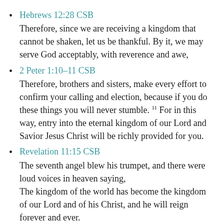Hebrews 12:28 CSB
Therefore, since we are receiving a kingdom that cannot be shaken, let us be thankful. By it, we may serve God acceptably, with reverence and awe,
2 Peter 1:10–11 CSB
Therefore, brothers and sisters, make every effort to confirm your calling and election, because if you do these things you will never stumble. 11 For in this way, entry into the eternal kingdom of our Lord and Savior Jesus Christ will be richly provided for you.
Revelation 11:15 CSB
The seventh angel blew his trumpet, and there were loud voices in heaven saying,
The kingdom of the world has become the kingdom of our Lord and of his Christ, and he will reign forever and ever.
Revelation 21:1–4 CSB